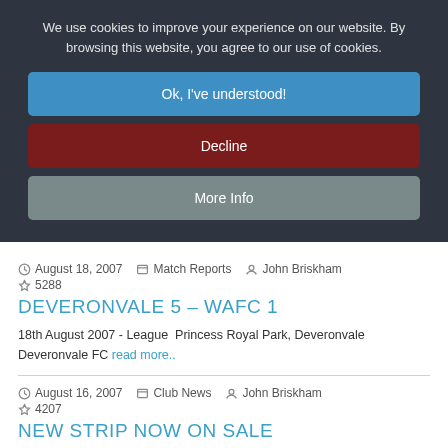We use cookies to improve your experience on our website. By browsing this website, you agree to our use of cookies.
Ok, I've understood!
Decline
More Info
August 18, 2007   Match Reports   John Briskham   5288
DEVERONVALE 5 - WAFC 1
18th August 2007 - League  Princess Royal Park, Deveronvale Deveronvale FC read more..
August 16, 2007   Club News   John Briskham   4207
NEW STRIP NOW ON SALE